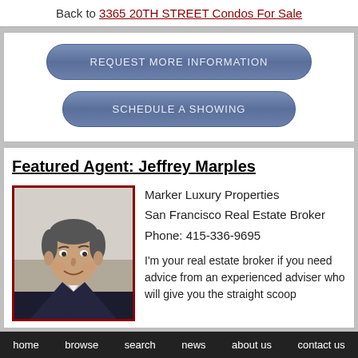Back to 3365 20TH STREET Condos For Sale
REQUEST MORE INFORMATION
SCHEDULE A SHOWING
Featured Agent: Jeffrey Marples
[Figure (photo): Headshot of Jeffrey Marples, a middle-aged man in a dark suit with white shirt, smiling, framed with a dark red border]
Marker Luxury Properties
San Francisco Real Estate Broker
Phone: 415-336-9695

I'm your real estate broker if you need advice from an experienced adviser who will give you the straight scoop
home   browse   search   news   about us   contact us